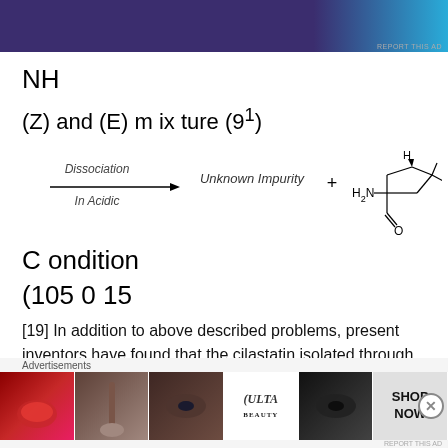[Figure (other): Top advertisement banner with dark purple and cyan gradient]
NH
(Z) and (E) m ix ture (9¹)
[Figure (schematic): Reaction scheme showing Dissociation arrow labeled 'In Acidic' on left, Unknown Impurity label in center, plus sign, and a chemical structure of 2,2-dimethylcyclopropane-1-carboxamide (H2N-C(=O)-cyclopropane with H and gem-dimethyl) on the right]
C ondition
(105 0 15
[19] In addition to above described problems, present inventors have found that the cilastatin isolated through